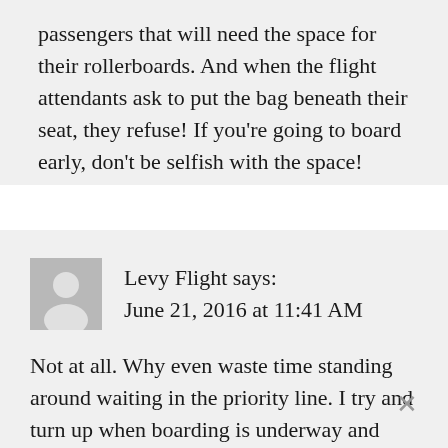passengers that will need the space for their rollerboards. And when the flight attendants ask to put the bag beneath their seat, they refuse! If you're going to board early, don't be selfish with the space!
Levy Flight says:
June 21, 2016 at 11:41 AM
Not at all. Why even waste time standing around waiting in the priority line. I try and turn up when boarding is underway and speed theough vis the priority line without stopping. For business travellers